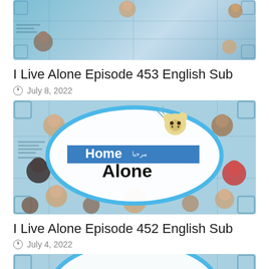[Figure (screenshot): Thumbnail image for I Live Alone Episode 453 - blue background with cast photos arranged around the frame]
I Live Alone Episode 453 English Sub
July 8, 2022
[Figure (screenshot): Thumbnail image for I Live Alone Episode 452 / Home Alone - blue background with oval logo showing teddy bear, 'Home Alone' text in bold, and cast photos around edges]
I Live Alone Episode 452 English Sub
July 4, 2022
[Figure (screenshot): Partial thumbnail image for another I Live Alone episode - blue background partially visible at bottom]